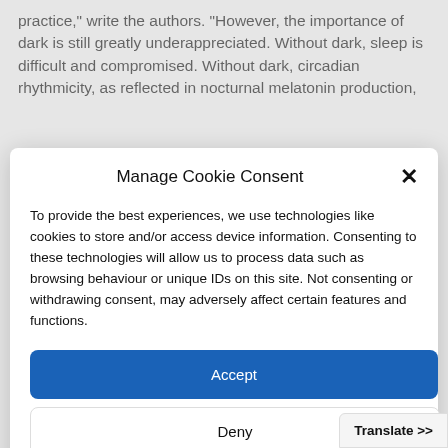practice," write the authors. "However, the importance of dark is still greatly underappreciated. Without dark, sleep is difficult and compromised. Without dark, circadian rhythmicity, as reflected in nocturnal melatonin production,
Manage Cookie Consent
To provide the best experiences, we use technologies like cookies to store and/or access device information. Consenting to these technologies will allow us to process data such as browsing behaviour or unique IDs on this site. Not consenting or withdrawing consent, may adversely affect certain features and functions.
Accept
Deny
View preferences
Cookie Policy  Privacy Policy
Translate >>